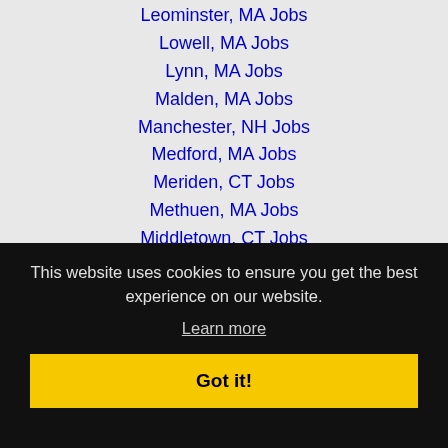Leominster, MA Jobs
Lowell, MA Jobs
Lynn, MA Jobs
Malden, MA Jobs
Manchester, NH Jobs
Medford, MA Jobs
Meriden, CT Jobs
Methuen, MA Jobs
Middletown, CT Jobs
Milford, CT Jobs
This website uses cookies to ensure you get the best experience on our website.
Learn more
Got it!
Pawtucket, RI Jobs